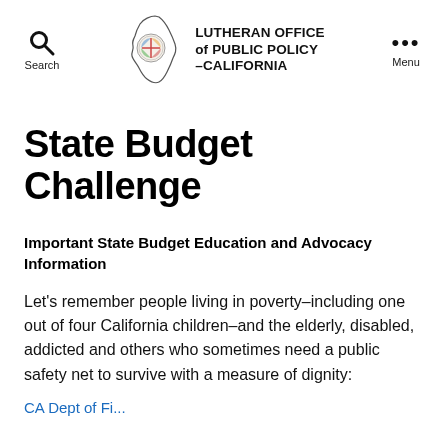Search | LUTHERAN OFFICE of PUBLIC POLICY –CALIFORNIA | Menu
State Budget Challenge
Important State Budget Education and Advocacy Information
Let's remember people living in poverty–including one out of four California children–and the elderly, disabled, addicted and others who sometimes need a public safety net to survive with a measure of dignity: